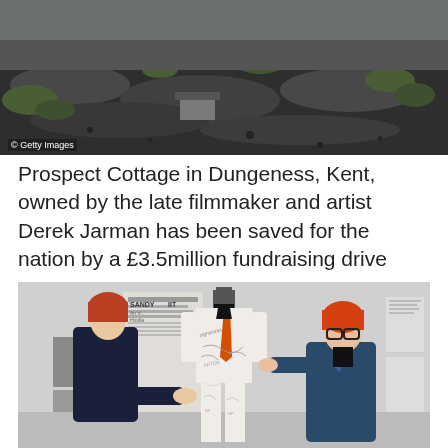[Figure (photo): Aerial/landscape photograph of Prospect Cottage in Dungeness, Kent, showing dark shingle landscape with cottage and garden, with Getty Images credit overlay]
Prospect Cottage in Dungeness, Kent, owned by the late filmmaker and artist Derek Jarman has been saved for the nation by a £3.5million fundraising drive
[Figure (photo): Two people standing either side of a mannequin wearing a white suit with signatures/drawings and an orange tie, displayed in a gallery setting]